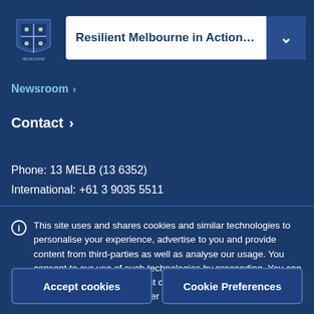Resilient Melbourne in Action PhD Schol.
Newsroom >
Contact >
Phone: 13 MELB (13 6352)
International: +61 3 9035 5511
This site uses and shares cookies and similar technologies to personalise your experience, advertise to you and provide content from third-parties as well as analyse our usage. You consent to our use of such technologies by proceeding. You can change your mind or consent choices at any time. Visit our Privacy Statement for further information.
Accept cookies | Cookie Preferences